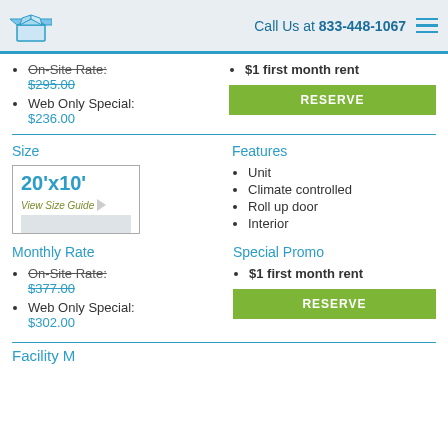Call Us at 833-448-1067
On-Site Rate: $295.00
Web Only Special: $236.00
$1 first month rent
Size
[Figure (illustration): Size guide box showing 20'x10' unit with View Size Guide link and arrow]
Features
Unit
Climate controlled
Roll up door
Interior
Monthly Rate
On-Site Rate: $377.00
Web Only Special: $302.00
Special Promo
$1 first month rent
Facility M...